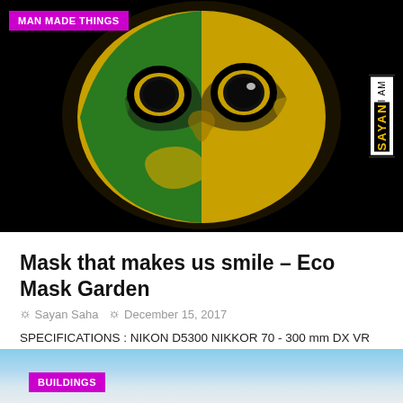[Figure (photo): Colorful decorative mask painted in green, yellow, and black swirling patterns with large circular eye holes, labeled with 'MAN MADE THINGS' badge and 'I AM SAYAN' watermark]
Mask that makes us smile - Eco Mask Garden
Sayan Saha   December 15, 2017
SPECIFICATIONS : NIKON D5300 NIKKOR 70 - 300 mm DX VR ISO-400 +0.7 Step S : 1/160 F : f/5.6 220 mm E - LR
[Figure (photo): Partial view of a second photo with blue sky background labeled 'BUILDINGS']